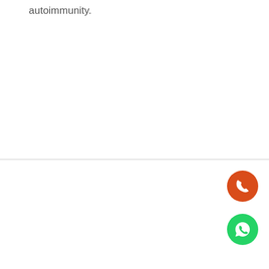autoimmunity.
We use cookies on our website to give you the most relevant experience by remembering your preferences and repeat visits. By clicking “Accept All”, you consent to the use of ALL the cookies.
Cookie Settings
Accept All